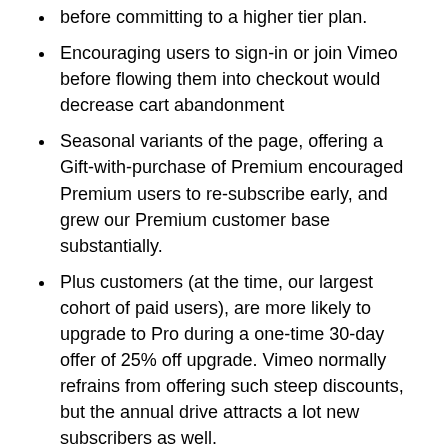before committing to a higher tier plan.
Encouraging users to sign-in or join Vimeo before flowing them into checkout would decrease cart abandonment
Seasonal variants of the page, offering a Gift-with-purchase of Premium encouraged Premium users to re-subscribe early, and grew our Premium customer base substantially.
Plus customers (at the time, our largest cohort of paid users), are more likely to upgrade to Pro during a one-time 30-day offer of 25% off upgrade. Vimeo normally refrains from offering such steep discounts, but the annual drive attracts a lot new subscribers as well.